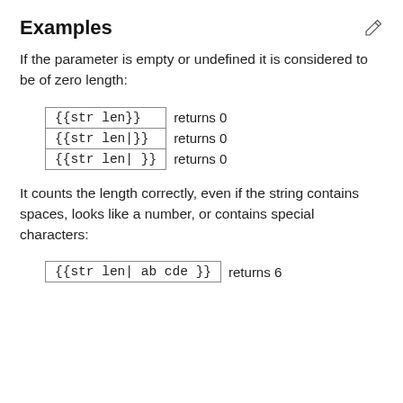Examples
If the parameter is empty or undefined it is considered to be of zero length:
| {{str len}} | returns 0 |
| {{str len|}} | returns 0 |
| {{str len| }} | returns 0 |
It counts the length correctly, even if the string contains spaces, looks like a number, or contains special characters:
| {{str len| ab cde }} | returns 6 |